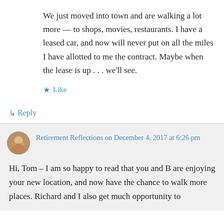We just moved into town and are walking a lot more — to shops, movies, restaurants. I have a leased car, and now will never put on all the miles I have allotted to me the contract. Maybe when the lease is up . . . we'll see.
★ Like
↳ Reply
Retirement Reflections on December 4, 2017 at 6:26 pm
Hi, Tom – I am so happy to read that you and B are enjoying your new location, and now have the chance to walk more places. Richard and I also get much opportunity to